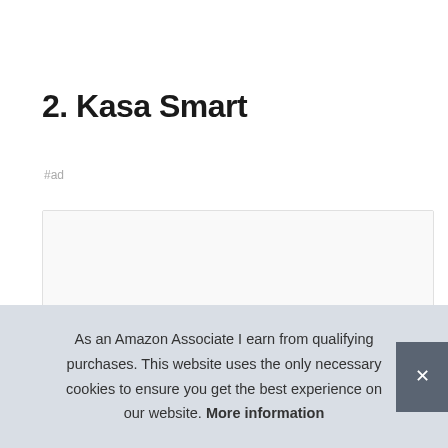2. Kasa Smart
#ad
[Figure (photo): Product image placeholder box with partial product sketch visible at bottom]
As an Amazon Associate I earn from qualifying purchases. This website uses the only necessary cookies to ensure you get the best experience on our website. More information